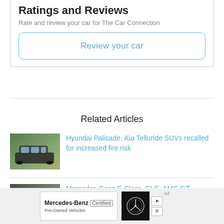Ratings and Reviews
Rate and review your car for The Car Connection
Review your car
Related Articles
[Figure (photo): Dark SUV (Hyundai Palisade) parked outdoors]
Hyundai Palisade, Kia Telluride SUVs recalled for increased fire risk
[Figure (photo): Multiple Mercedes-Benz vehicles parked in a lot]
Mercedes-Benz E-Class, CLS, AMG GT recalled for increased fire risk
[Figure (other): Mercedes-Benz Certified Pre-Owned Vehicles advertisement banner]